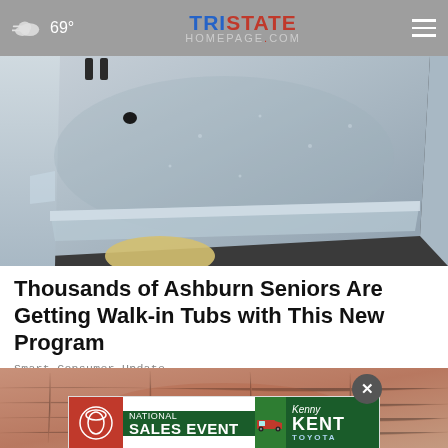69° | TRISTATE HOMEPAGE.com
[Figure (photo): Photo of a walk-in bathtub with a blue-gray metallic finish, viewed from above at an angle showing the tub interior and rim]
Thousands of Ashburn Seniors Are Getting Walk-in Tubs with This New Program
Smart Consumer Update
[Figure (photo): Close-up photo of aged skin texture, pinkish-brown tone]
[Figure (other): Advertisement banner: National Sales Event - Kenny Kent Toyota]